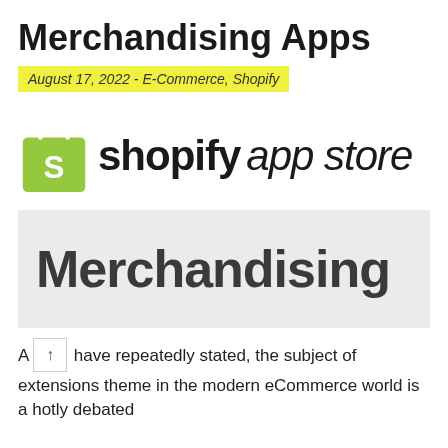Merchandising Apps
August 17, 2022 - E-Commerce, Shopify
[Figure (logo): Shopify App Store logo: green shopping bag with 'S' icon followed by bold 'shopify' and italic 'app store' text]
[Figure (other): Grey banner with large text 'Merchandising']
A [scroll button] have repeatedly stated, the subject of extensions theme in the modern eCommerce world is a hotly debated